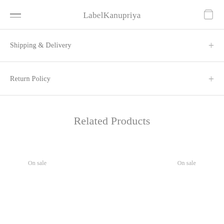LabelKanupriya
Shipping & Delivery
Return Policy
Related Products
On sale
On sale